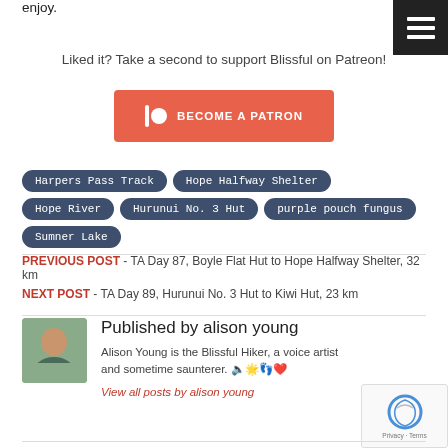enjoy.
Liked it? Take a second to support Blissful on Patreon!
[Figure (other): Become a Patron button — orange/red button with Patreon logo and text BECOME A PATRON]
Harpers Pass Track
Hope Halfway Shelter
Hope River
Hurunui No. 3 Hut
purple pouch fungus
Sumner Lake
PREVIOUS POST - TA Day 87, Boyle Flat Hut to Hope Halfway Shelter, 32 km
NEXT POST - TA Day 89, Hurunui No. 3 Hut to Kiwi Hut, 23 km
Published by alison young
Alison Young is the Blissful Hiker, a voice artist and sometime saunterer. 🔈🌟👣❤
View all posts by alison young